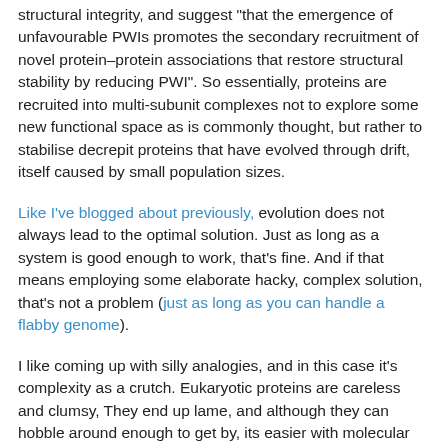structural integrity, and suggest "that the emergence of unfavourable PWIs promotes the secondary recruitment of novel protein–protein associations that restore structural stability by reducing PWI". So essentially, proteins are recruited into multi-subunit complexes not to explore some new functional space as is commonly thought, but rather to stabilise decrepit proteins that have evolved through drift, itself caused by small population sizes.
Like I've blogged about previously, evolution does not always lead to the optimal solution. Just as long as a system is good enough to work, that's fine. And if that means employing some elaborate hacky, complex solution, that's not a problem (just as long as you can handle a flabby genome).
I like coming up with silly analogies, and in this case it's complexity as a crutch. Eukaryotic proteins are careless and clumsy, They end up lame, and although they can hobble around enough to get by, its easier with molecular crutches. But the big question is what is the order of events? Was the crutch being used before or after the protein became lame. Lukeš et al. argue that eukaryotic proteins were already